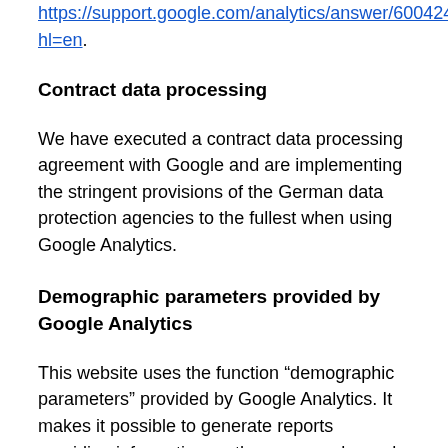https://support.google.com/analytics/answer/6004245?hl=en.
Contract data processing
We have executed a contract data processing agreement with Google and are implementing the stringent provisions of the German data protection agencies to the fullest when using Google Analytics.
Demographic parameters provided by Google Analytics
This website uses the function “demographic parameters” provided by Google Analytics. It makes it possible to generate reports providing information on the age, gender and interests of website visitors. The sources of this information are interest-related advertising by Google as